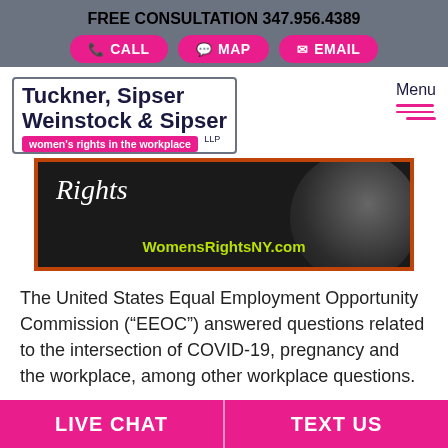FREE CONSULTATION 347.956.4389
CALL
MAP
EMAIL
Tuckner, Sipser Weinstock & Sipser LLP — women's rights in the workplace
Menu
[Figure (photo): Dark background image with script text 'Rights' and website URL 'WomensRightsNY.com' in yellow-green text, framed with orange border.]
The United States Equal Employment Opportunity Commission (“EEOC”) answered questions related to the intersection of COVID-19, pregnancy and the workplace, among other workplace questions.
LIVE CHAT | TEXT US